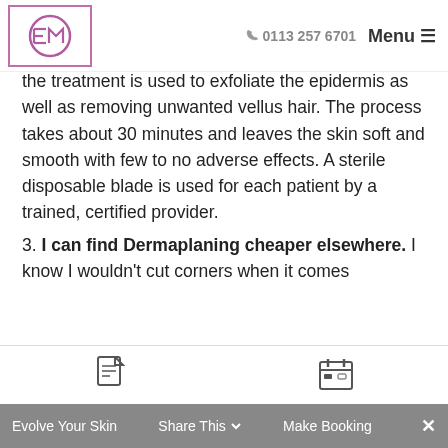0113 257 6701  Menu
the treatment is used to exfoliate the epidermis as well as removing unwanted vellus hair. The process takes about 30 minutes and leaves the skin soft and smooth with few to no adverse effects. A sterile disposable blade is used for each patient by a trained, certified provider.
3. I can find Dermaplaning cheaper elsewhere. I know I wouldn't cut corners when it comes
Evolve Your Skin   Share This   Make Booking